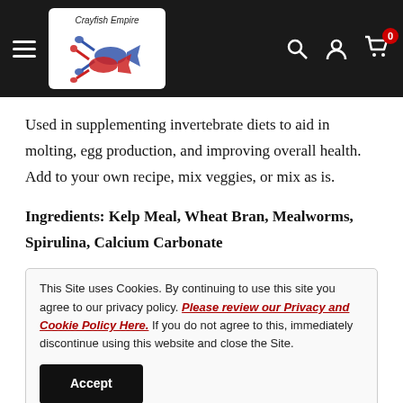Crayfish Empire [logo/navbar with hamburger menu, search, account, and cart icons]
Used in supplementing invertebrate diets to aid in molting, egg production, and improving overall health. Add to your own recipe, mix veggies, or mix as is.
Ingredients: Kelp Meal, Wheat Bran, Mealworms, Spirulina, Calcium Carbonate
This Site uses Cookies. By continuing to use this site you agree to our privacy policy. Please review our Privacy and Cookie Policy Here. If you do not agree to this, immediately discontinue using this website and close the Site.
ingredients used. The amounts